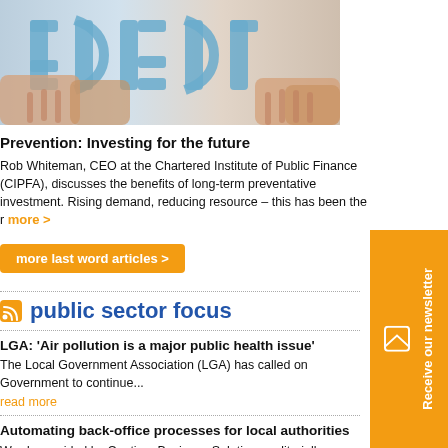[Figure (photo): Hands arranging blue letter figures on a surface, viewed from above]
Prevention: Investing for the future
Rob Whiteman, CEO at the Chartered Institute of Public Finance (CIPFA), discusses the benefits of long-term preventative investment. Rising demand, reducing resource – this has been the r more >
more last word articles >
public sector focus
LGA: 'Air pollution is a major public health issue'
The Local Government Association (LGA) has called on Government to continue...
read more
Automating back-office processes for local authorities
Words provided by Cantium Business Solutions, editorially reviewed by Publi...
read more
[Figure (infographic): Orange sidebar with 'Receive our newsletter' text and envelope icon]